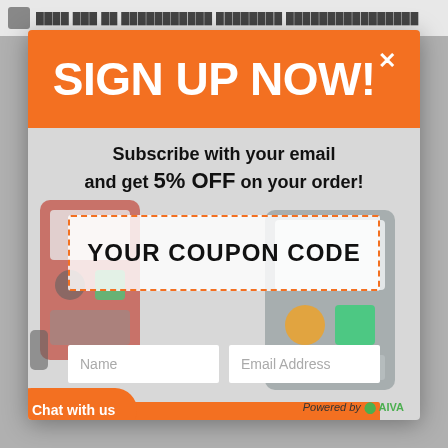SIGN UP NOW!×
Subscribe with your email and get 5% OFF on your order!
YOUR COUPON CODE
Name
Email Address
VIEW COUPON
No thanks.
Chat with us
Powered by AIVA